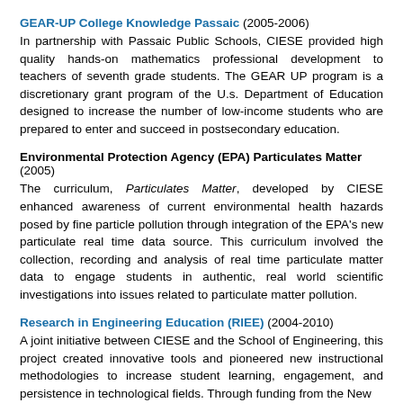GEAR-UP College Knowledge Passaic (2005-2006)
In partnership with Passaic Public Schools, CIESE provided high quality hands-on mathematics professional development to teachers of seventh grade students. The GEAR UP program is a discretionary grant program of the U.s. Department of Education designed to increase the number of low-income students who are prepared to enter and succeed in postsecondary education.
Environmental Protection Agency (EPA) Particulates Matter (2005)
The curriculum, Particulates Matter, developed by CIESE enhanced awareness of current environmental health hazards posed by fine particle pollution through integration of the EPA's new particulate real time data source. This curriculum involved the collection, recording and analysis of real time particulate matter data to engage students in authentic, real world scientific investigations into issues related to particulate matter pollution.
Research in Engineering Education (RIEE) (2004-2010)
A joint initiative between CIESE and the School of Engineering, this project created innovative tools and pioneered new instructional methodologies to increase student learning, engagement, and persistence in technological fields. Through funding from the New